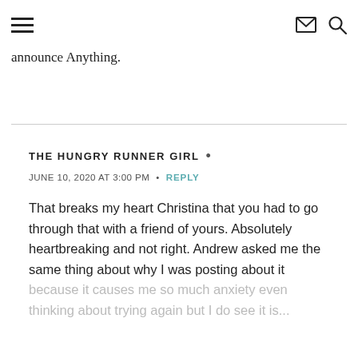≡  [mail icon] [search icon]
announce Anything.
THE HUNGRY RUNNER GIRL •
JUNE 10, 2020 AT 3:00 PM • REPLY
That breaks my heart Christina that you had to go through that with a friend of yours. Absolutely heartbreaking and not right. Andrew asked me the same thing about why I was posting about it because it causes me so much anxiety even thinking about trying again but I do see it is...